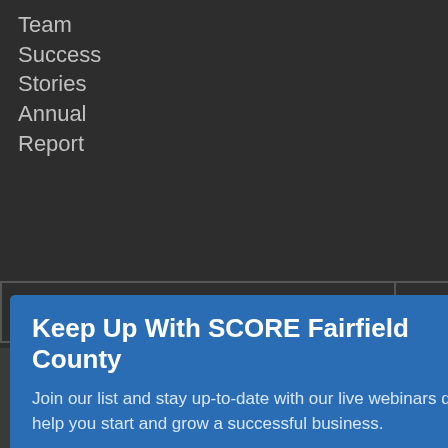Team
Success Stories
Annual Report
Keep Up With SCORE Fairfield County
Join our list and stay up-to-date with our live webinars designed to help you start and grow a successful business.
email address
SUBMIT
Volunteer
Volunteer Login | Website Policy | Credits
Copyright © 2022 SCORE Association, www.score.org